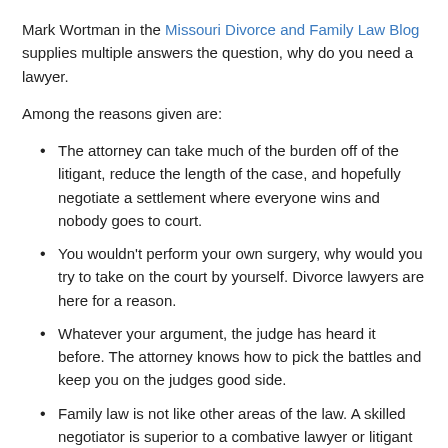Mark Wortman in the Missouri Divorce and Family Law Blog supplies multiple answers the question, why do you need a lawyer.
Among the reasons given are:
The attorney can take much of the burden off of the litigant, reduce the length of the case, and hopefully negotiate a settlement where everyone wins and nobody goes to court.
You wouldn't perform your own surgery, why would you try to take on the court by yourself. Divorce lawyers are here for a reason.
Whatever your argument, the judge has heard it before. The attorney knows how to pick the battles and keep you on the judges good side.
Family law is not like other areas of the law. A skilled negotiator is superior to a combative lawyer or litigant who wants to fight about everything.
Mark diplomatically stops short of quoting the old adage that anyone who attempts to represent himself in court has a fool for a